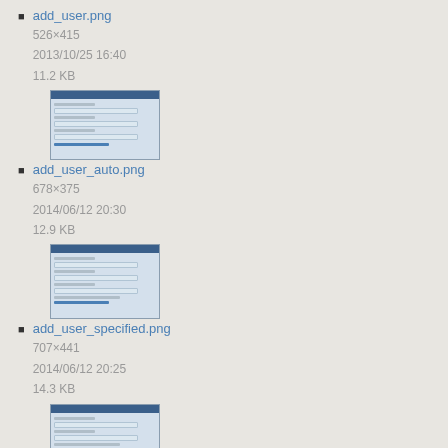add_user.png
526×415
2013/10/25 16:40
11.2 KB
[Figure (screenshot): Thumbnail screenshot of add_user.png showing a web form interface with blue header bar and form fields]
add_user_auto.png
678×375
2014/06/12 20:30
12.9 KB
[Figure (screenshot): Thumbnail screenshot of add_user_auto.png showing a web form interface with blue header bar and form fields]
add_user_specified.png
707×441
2014/06/12 20:25
14.3 KB
[Figure (screenshot): Thumbnail screenshot of add_user_specified.png showing a web form interface with blue header bar and additional form fields]